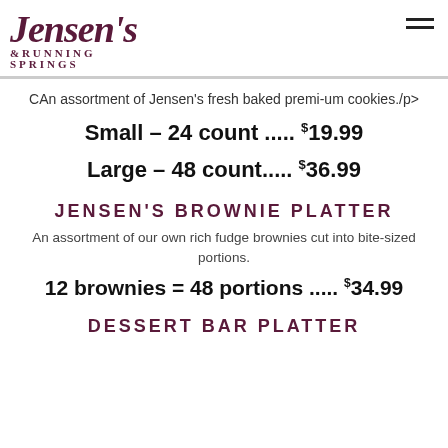Jensen's & Running Springs
CAn assortment of Jensen's fresh baked premi-um cookies./p>
Small – 24 count ..... $19.99
Large – 48 count..... $36.99
JENSEN'S BROWNIE PLATTER
An assortment of our own rich fudge brownies cut into bite-sized portions.
12 brownies = 48 portions ..... $34.99
DESSERT BAR PLATTER